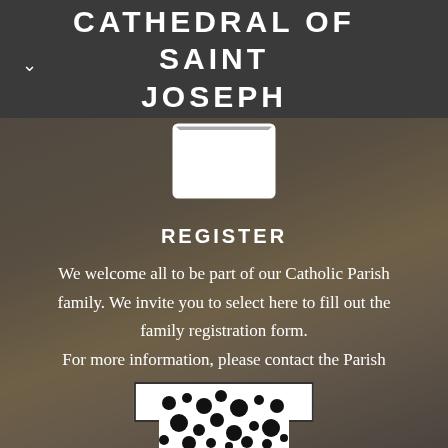CATHEDRAL OF SAINT JOSEPH
[Figure (illustration): White envelope icon with a downward arrow/chevron inside, on a dark blurred background]
REGISTER
We welcome all to be part of our Catholic Parish family. We invite you to select here to fill out the family registration form.
For more information, please contact the Parish Office:
(860) 249-8431
[Figure (other): Partial QR code visible at the bottom of the page]